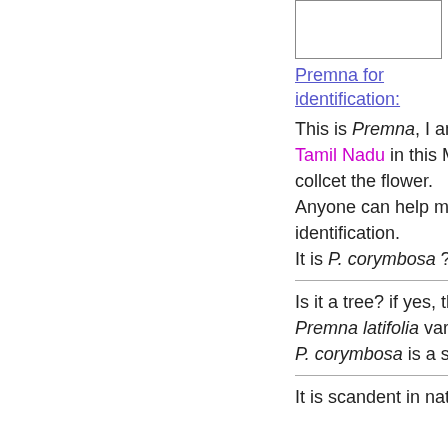[Figure (photo): Small image box, partially visible at top right]
Premna for identification:
This is Premna, I am collected from Tamil Nadu in this March. I cant to collcet the flower.
Anyone can help me for the species identification.
It is P. corymbosa ?
Is it a tree? if yes, this could be Premna latifolia var. latifolia.
P. corymbosa is a straggler.
It is scandent in nature. I already